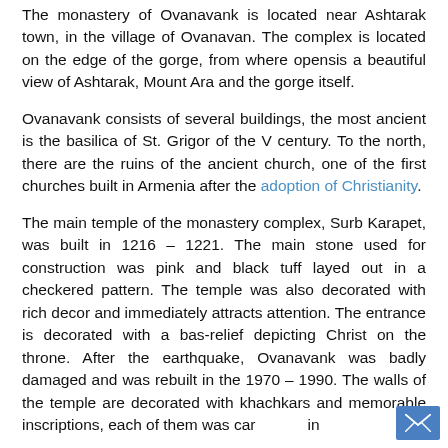The monastery of Ovanavank is located near Ashtarak town, in the village of Ovanavan. The complex is located on the edge of the gorge, from where opensis a beautiful view of Ashtarak, Mount Ara and the gorge itself.
Ovanavank consists of several buildings, the most ancient is the basilica of St. Grigor of the V century. To the north, there are the ruins of the ancient church, one of the first churches built in Armenia after the adoption of Christianity.
The main temple of the monastery complex, Surb Karapet, was built in 1216 – 1221. The main stone used for construction was pink and black tuff layed out in a checkered pattern. The temple was also decorated with rich decor and immediately attracts attention. The entrance is decorated with a bas-relief depicting Christ on the throne. After the earthquake, Ovanavank was badly damaged and was rebuilt in the 1970 – 1990. The walls of the temple are decorated with khachkars and memorable inscriptions, each of them was car in